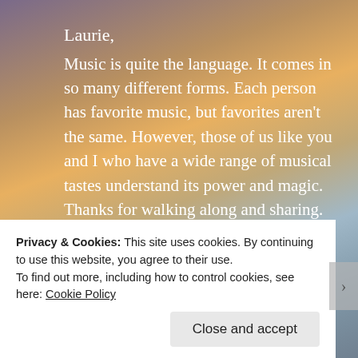Laurie,
Music is quite the language. It comes in so many different forms. Each person has favorite music, but favorites aren't the same. However, those of us like you and I who have a wide range of musical tastes understand its power and magic. Thanks for walking along and sharing.
★ Liked by 1 person
REPLY
Privacy & Cookies: This site uses cookies. By continuing to use this website, you agree to their use.
To find out more, including how to control cookies, see here: Cookie Policy
Close and accept